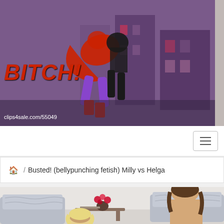[Figure (photo): Purple-toned photo showing two women in a fighting pose on a rooftop/urban background. Large red italic bold text reading 'BITCH!' on the left side, and URL 'clips4sale.com/55049' at the bottom left of the image.]
[Figure (screenshot): Navigation bar with hamburger menu icon on the right]
🏠 / Busted! (bellypunching fetish) Milly vs Helga
[Figure (photo): Photo of two women in a living room setting with a grey sofa, flower vase on a table. A blonde woman and a brunette woman are visible.]